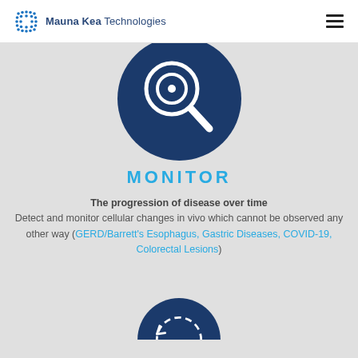Mauna Kea Technologies
[Figure (illustration): Dark navy blue circular icon with a magnifying glass symbol in white lines, centered on a light gray background]
MONITOR
The progression of disease over time Detect and monitor cellular changes in vivo which cannot be observed any other way (GERD/Barrett's Esophagus, Gastric Diseases, COVID-19, Colorectal Lesions)
[Figure (illustration): Dark navy blue circular icon with circular arrows/refresh symbol in white dashed lines, partially visible at bottom of page]